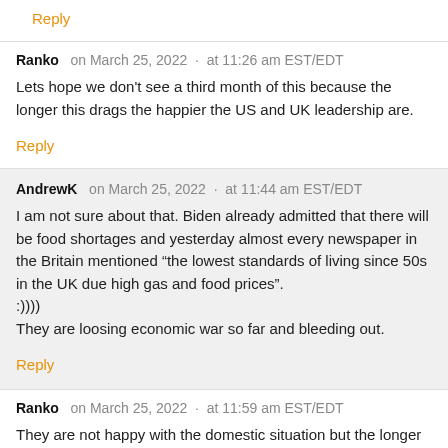Reply
Ranko  on March 25, 2022  ·  at 11:26 am EST/EDT
Lets hope we don't see a third month of this because the longer this drags the happier the US and UK leadership are.
Reply
AndrewK  on March 25, 2022  ·  at 11:44 am EST/EDT
I am not sure about that. Biden already admitted that there will be food shortages and yesterday almost every newspaper in the Britain mentioned "the lowest standards of living since 50s in the UK due high gas and food prices".
:))))
They are loosing economic war so far and bleeding out.
Reply
Ranko  on March 25, 2022  ·  at 11:59 am EST/EDT
They are not happy with the domestic situation but the longer the war goes on they get to hide behind that and say it's not our